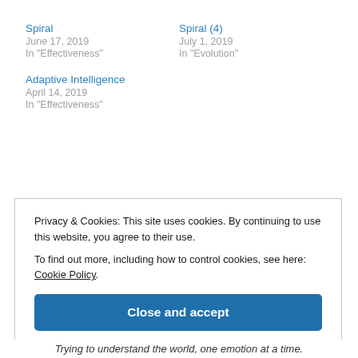Spiral
June 17, 2019
In "Effectiveness"
Spiral (4)
July 1, 2019
In "Evolution"
Adaptive Intelligence
April 14, 2019
In "Effectiveness"
Privacy & Cookies: This site uses cookies. By continuing to use this website, you agree to their use. To find out more, including how to control cookies, see here: Cookie Policy.
Close and accept
Trying to understand the world, one emotion at a time.